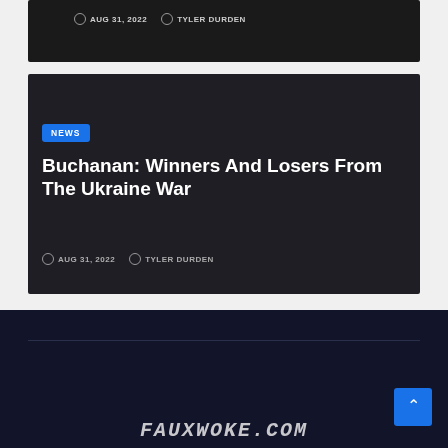AUG 31, 2022   TYLER DURDEN
Buchanan: Winners And Losers From The Ukraine War
AUG 31, 2022   TYLER DURDEN
FAUXWOKE.COM